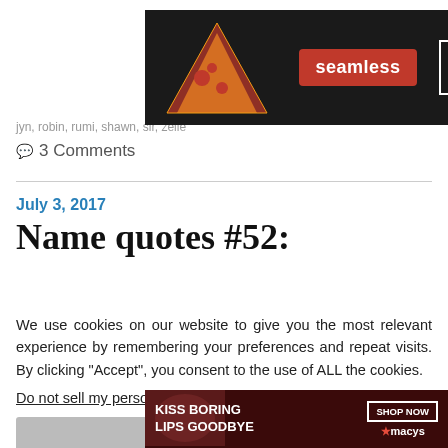[Figure (other): Seamless food delivery advertisement banner with pizza image, red seamless logo, and ORDER NOW button on dark background]
jyn, robin, rumi, shawn, sir, zelle
3 Comments
July 3, 2017
Name quotes #52:
We use cookies on our website to give you the most relevant experience by remembering your preferences and repeat visits. By clicking “Accept”, you consent to the use of ALL the cookies.
Do not sell my personal information.
[Figure (other): Macy's lipstick advertisement with model, KISS BORING LIPS GOODBYE text, and SHOP NOW button]